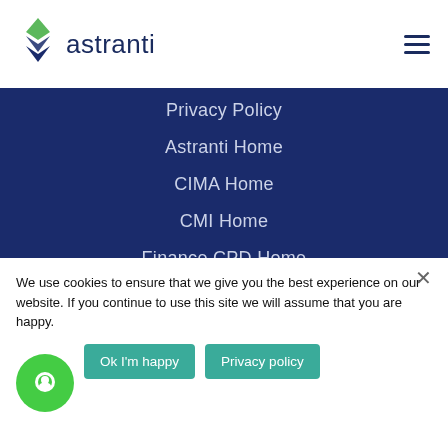[Figure (logo): Astranti logo with green and dark blue diamond shapes and 'astranti' text]
Privacy Policy
Astranti Home
CIMA Home
CMI Home
Finance CPD Home
Excel Expert Home
Careers
Affiliates
We use cookies to ensure that we give you the best experience on our website. If you continue to use this site we will assume that you are happy.